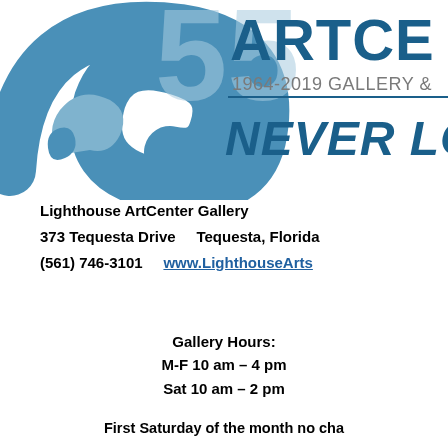[Figure (logo): Lighthouse ArtCenter logo with swirling blue design and text '1964-2019 GALLERY & ...' and 'NEVER LOOKED...']
Lighthouse ArtCenter Gallery
373 Tequesta Drive    Tequesta, Florida
(561) 746-3101    www.LighthouseArts...
Gallery Hours:
M-F 10 am – 4 pm
Sat 10 am – 2 pm
First Saturday of the month no cha...